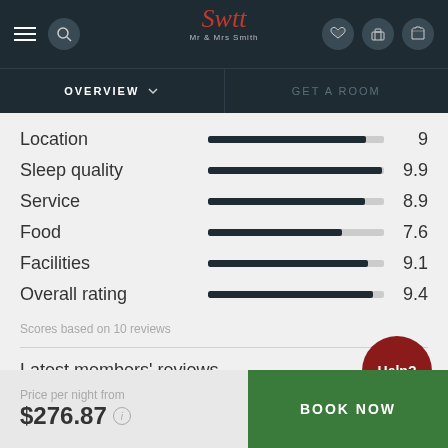Mr & Mrs Smith — Navigation bar with logo, search, phone, heart, and luggage icons
OVERVIEW  ∨    GET A ROOM
[Figure (bar-chart): Ratings]
Scores based on 10 reviews
Latest members' reviews
Price per night from
$276.87
BOOK NOW